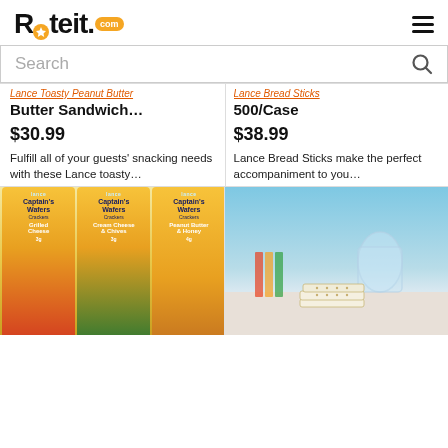Rateit.com
Search
Lance Toasty Peanut Butter Sandwich…
Lance Bread Sticks 500/Case
$30.99
$38.99
Fulfill all of your guests' snacking needs with these Lance toasty…
Lance Bread Sticks make the perfect accompaniment to you…
[Figure (photo): Three boxes of Lance Captain's Wafers Crackers in Grilled Cheese, Cream Cheese & Chives, and Peanut Butter & Honey flavors]
[Figure (photo): Stack of white sandwich crackers on a table with a glass jar in the background]